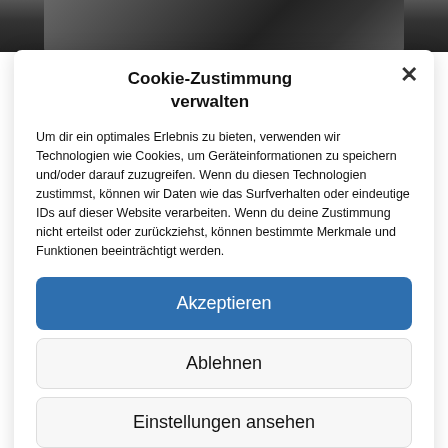[Figure (photo): Partial photo strip at top of page showing a dark road or railway scene]
Cookie-Zustimmung verwalten
Um dir ein optimales Erlebnis zu bieten, verwenden wir Technologien wie Cookies, um Geräteinformationen zu speichern und/oder darauf zuzugreifen. Wenn du diesen Technologien zustimmst, können wir Daten wie das Surfverhalten oder eindeutige IDs auf dieser Website verarbeiten. Wenn du deine Zustimmung nicht erteilst oder zurückziehst, können bestimmte Merkmale und Funktionen beeinträchtigt werden.
Akzeptieren
Ablehnen
Einstellungen ansehen
Privacy policy  Impressum